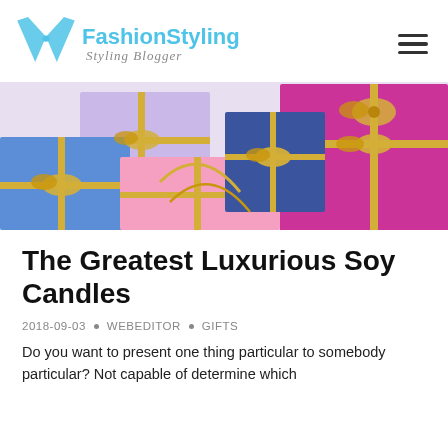FashionStyling Styling Blogger
[Figure (photo): Colourful gift boxes with gold ribbons and bows, blue, pink, magenta and purple boxes arranged together]
The Greatest Luxurious Soy Candles
2018-09-03 • WEBEDITOR • GIFTS
Do you want to present one thing particular to somebody particular? Not capable of determine which